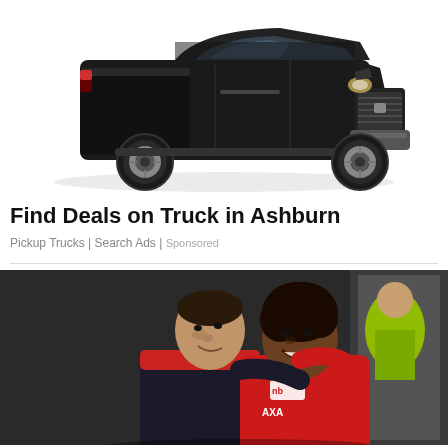[Figure (photo): Black pickup truck (RAM-style) on white background, three-quarter front view]
Find Deals on Truck in Ashburn
Pickup Trucks | Search Ads | Sponsored
[Figure (photo): Two soccer players in Liverpool red training kit hugging or wrestling playfully, one wearing a New Balance shirt and AXA-branded kit]